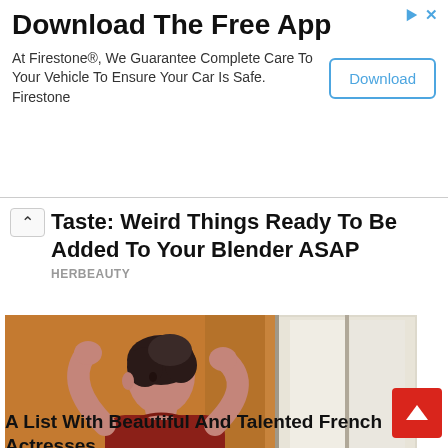Download The Free App
At Firestone®, We Guarantee Complete Care To Your Vehicle To Ensure Your Car Is Safe. Firestone
Download
Taste: Weird Things Ready To Be Added To Your Blender ASAP
HERBEAUTY
[Figure (photo): A woman in a dark red top putting her hair up, photographed from the side in a warm-toned indoor setting near a window.]
A List With Beautiful And Talented French Actresses